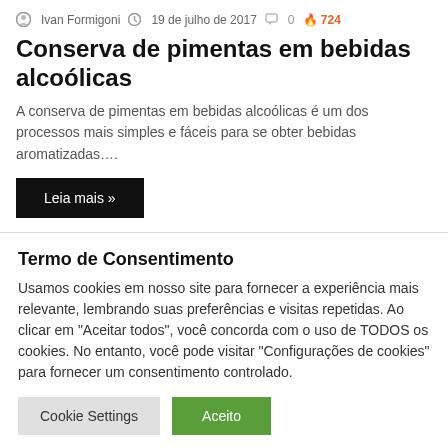Ivan Formigoni  19 de julho de 2017  0  724
Conserva de pimentas em bebidas alcoólicas
A conserva de pimentas em bebidas alcoólicas é um dos processos mais simples e fáceis para se obter bebidas aromatizadas....
Leia mais »
Termo de Consentimento
Usamos cookies em nosso site para fornecer a experiência mais relevante, lembrando suas preferências e visitas repetidas. Ao clicar em "Aceitar todos", você concorda com o uso de TODOS os cookies. No entanto, você pode visitar "Configurações de cookies" para fornecer um consentimento controlado.
Cookie Settings  Aceito